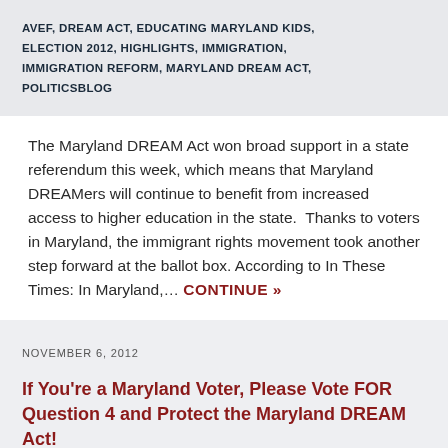AVEF, DREAM ACT, EDUCATING MARYLAND KIDS, ELECTION 2012, HIGHLIGHTS, IMMIGRATION, IMMIGRATION REFORM, MARYLAND DREAM ACT, POLITICSBLOG
The Maryland DREAM Act won broad support in a state referendum this week, which means that Maryland DREAMers will continue to benefit from increased access to higher education in the state.  Thanks to voters in Maryland, the immigrant rights movement took another step forward at the ballot box. According to In These Times: In Maryland,… CONTINUE »
NOVEMBER 6, 2012
If You're a Maryland Voter, Please Vote FOR Question 4 and Protect the Maryland DREAM Act!